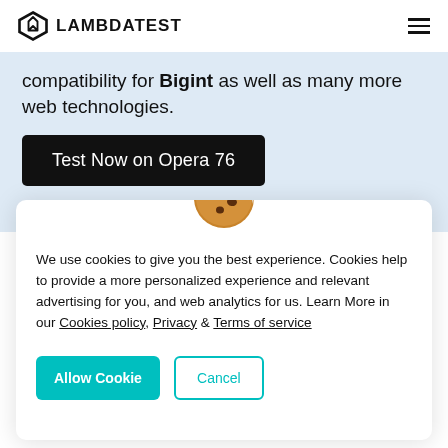LAMBDATEST
compatibility for Bigint as well as many more web technologies.
[Figure (screenshot): Black CTA button reading 'Test Now on Opera 76']
[Figure (illustration): Cookie emoji icon]
We use cookies to give you the best experience. Cookies help to provide a more personalized experience and relevant advertising for you, and web analytics for us. Learn More in our Cookies policy, Privacy & Terms of service
Allow Cookie | Cancel